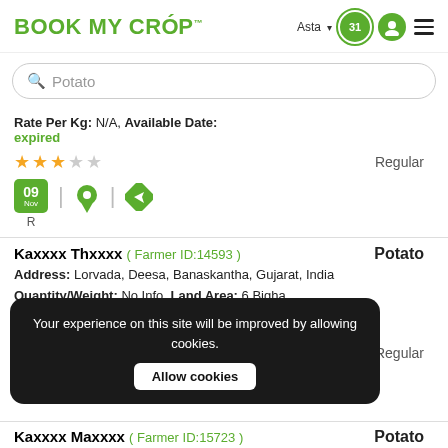BOOK MY CROP™  Asta ▾  [badge:31]  [user icon]  [menu]
🔍 Potato
Rate Per Kg: N/A, Available Date:
expired
★★★☆☆  Regular
09 Nov  R
Kaxxxx Thxxxx ( Farmer ID:14593 )  Potato
Address: Lorvada, Deesa, Banaskantha, Gujarat, India
Quantity/Weight: No Info, Land Area: 6 Bigha
Rate Per Kg: ₹12.00, Available Date:
expired
★★★☆☆  Regular
Your experience on this site will be improved by allowing cookies.  Allow cookies
Kaxxxx Maxxxx ( Farmer ID:15723 )  Potato